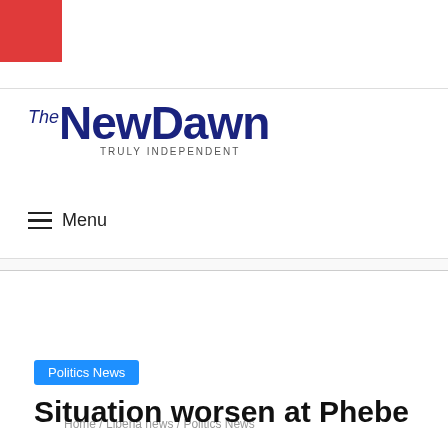[Figure (logo): The New Dawn newspaper logo with red accent square, dark blue text 'The New Dawn' and tagline 'TRULY INDEPENDENT']
≡  Menu
[Figure (other): Above Article Ad placeholder area]
Home / Liberia news / Politics News
Politics News
Situation worsen at Phebe